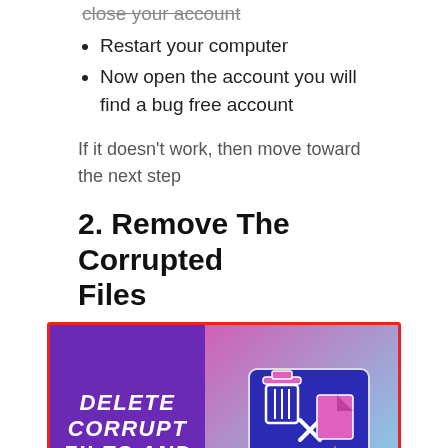close your account
Restart your computer
Now open the account you will find a bug free account
If it doesn't work, then move toward the next step
2. Remove The Corrupted Files
[Figure (illustration): Illustration split into two panels: left panel has purple background with white italic text 'DELETE CORRUPT FILES AND FOLDER'; right panel has pink-to-teal gradient with blue laptop/monitor graphic showing a trash can icon and a corrupted file icon with warning symbol.]